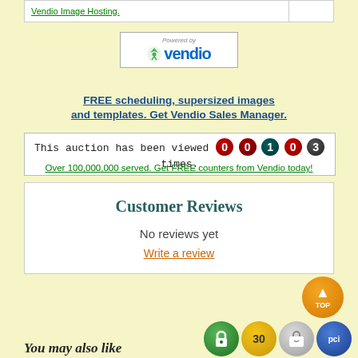Vendio Image Hosting.
[Figure (logo): Powered by Vendio logo with green figure icon]
FREE scheduling, supersized images and templates. Get Vendio Sales Manager.
[Figure (other): Auction view counter showing 00103 times]
Over 100,000,000 served. Get FREE counters from Vendio today!
Customer Reviews
No reviews yet
Write a review
[Figure (other): Badges: green lock, 30-day gold, Shopify bag, PCI blue]
You may also like